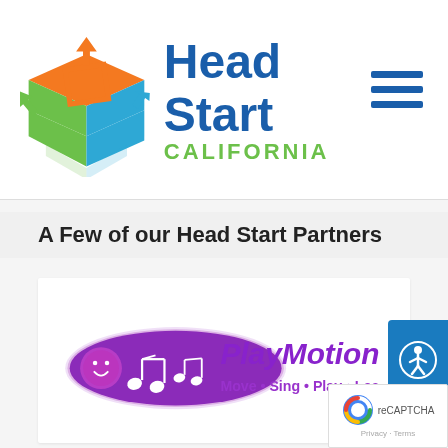[Figure (logo): Head Start California logo with colorful box icon and blue/green text]
A Few of our Head Start Partners
[Figure (logo): PlayMotion Music logo - purple oval with musical notes and smiley face. Tagline: Move • Sing • Play • Learn]
[Figure (other): Accessibility icon button (blue background, wheelchair symbol)]
[Figure (other): Google reCAPTCHA badge with Privacy and Terms links]